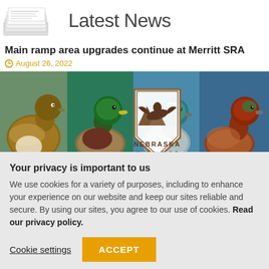[Figure (photo): Newspaper stack photo on the left, 'Latest News' text on the right]
Main ramp area upgrades continue at Merritt SRA
August 26, 2022
[Figure (photo): Composite image of four ducks with a Nebraska Duck logo/badge overlay]
Your privacy is important to us
We use cookies for a variety of purposes, including to enhance your experience on our website and keep our sites reliable and secure. By using our sites, you agree to our use of cookies. Read our privacy policy.
Cookie settings
ACCEPT